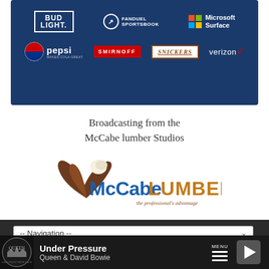[Figure (logo): Sponsors banner with blue background showing logos: Bud Light, FanDuel Sportsbook, Microsoft Surface, Pepsi, Smirnoff, Snickers, Verizon]
Broadcasting from the
McCabe lumber Studios
[Figure (logo): McCabe LUMBER logo with eagle feather graphic and tagline 'the professional's advantage']
-- Navigation --
Under Pressure
Queen & David Bowie